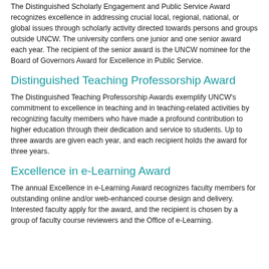The Distinguished Scholarly Engagement and Public Service Award recognizes excellence in addressing crucial local, regional, national, or global issues through scholarly activity directed towards persons and groups outside UNCW. The university confers one junior and one senior award each year. The recipient of the senior award is the UNCW nominee for the Board of Governors Award for Excellence in Public Service.
Distinguished Teaching Professorship Award
The Distinguished Teaching Professorship Awards exemplify UNCW's commitment to excellence in teaching and in teaching-related activities by recognizing faculty members who have made a profound contribution to higher education through their dedication and service to students. Up to three awards are given each year, and each recipient holds the award for three years.
Excellence in e-Learning Award
The annual Excellence in e-Learning Award recognizes faculty members for outstanding online and/or web-enhanced course design and delivery. Interested faculty apply for the award, and the recipient is chosen by a group of faculty course reviewers and the Office of e-Learning.